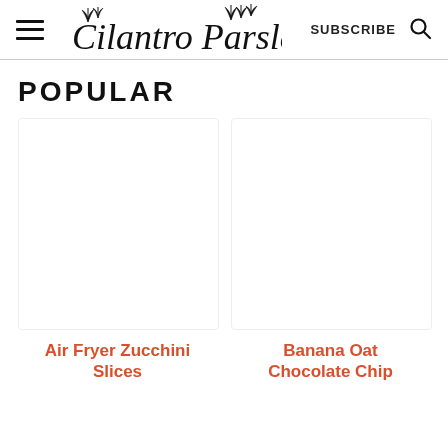Cilantro Parsley — SUBSCRIBE
POPULAR
[Figure (illustration): Empty white image placeholder for Air Fryer Zucchini Slices recipe card]
Air Fryer Zucchini Slices
[Figure (illustration): Empty white image placeholder for Banana Oat Chocolate Chip recipe card]
Banana Oat Chocolate Chip